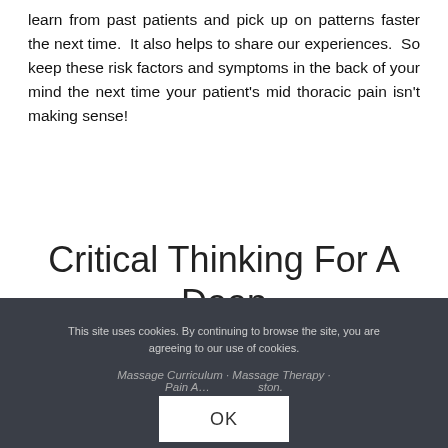learn from past patients and pick up on patterns faster the next time.  It also helps to share our experiences.  So keep these risk factors and symptoms in the back of your mind the next time your patient's mid thoracic pain isn't making sense!
Critical Thinking For A Deep Vein Thrombosis
This site uses cookies. By continuing to browse the site, you are agreeing to our use of cookies.
Massage Curriculum · Massage Therapy · Pain A[?] · [?]ston.